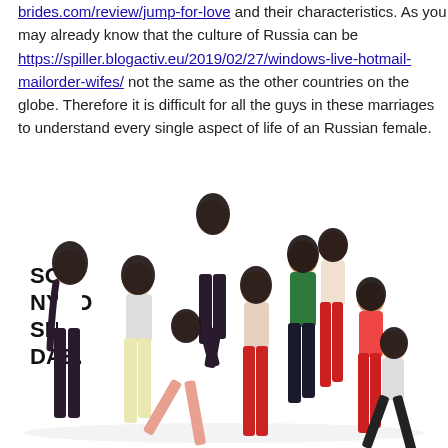brides.com/review/jump-for-love and their characteristics. As you may already know that the culture of Russia can be https://spiller.blogactiv.eu/2019/02/27/windows-live-hotmail-mailorder-wifes/ not the same as the other countries on the globe. Therefore it is difficult for all the guys in these marriages to understand every single aspect of life of an Russian female.
[Figure (photo): Group photo of K-pop girl group 'So Nyeo Shi Dae' (Girls' Generation) with 9 young women posing in various outfits including white tops, red pants, green jacket, and colorful clothing. Bold black text on left reads 'SO NYEO SHI DAE.' The background is white.]